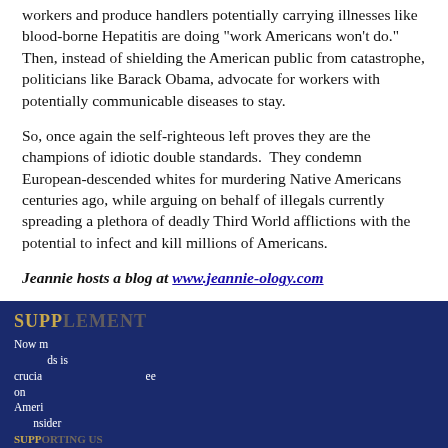workers and produce handlers potentially carrying illnesses like blood-borne Hepatitis are doing "work Americans won't do." Then, instead of shielding the American public from catastrophe, politicians like Barack Obama, advocate for workers with potentially communicable diseases to stay.
So, once again the self-righteous left proves they are the champions of idiotic double standards. They condemn European-descended whites for murdering Native Americans centuries ago, while arguing on behalf of illegals currently spreading a plethora of deadly Third World afflictions with the potential to infect and kill millions of Americans.
Jeannie hosts a blog at www.jeannie-ology.com
[Figure (screenshot): Dark blue banner section partially visible with gold 'SUPP...' heading and white text, overlaid by an advertisement with two thumbnail images: left showing an elderly man captioned 'A Tragic End Today For Willie Nelson / Breaking News', right showing a man in a suit captioned 'Dems Raid Mar-A-Lago when They Should b... / Infected', with a close X button.]